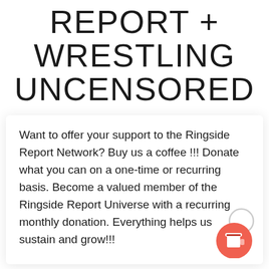REPORT + WRESTLING UNCENSORED
Want to offer your support to the Ringside Report Network? Buy us a coffee !!! Donate what you can on a one-time or recurring basis. Become a valued member of the Ringside Report Universe with a recurring monthly donation. Everything helps us sustain and grow!!!
[Figure (illustration): Buy Me a Coffee button icon: red/coral circular button with a white takeaway coffee cup icon and a grey handle arc above it]